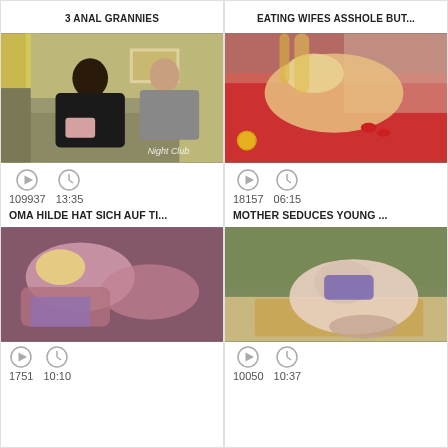3 ANAL GRANNIES
[Figure (photo): Video thumbnail showing two people on a sofa]
109937   13:35
OMA HILDE HAT SICH AUF TI...
EATING WIFES ASSHOLE BUT...
[Figure (photo): Video thumbnail showing adult content]
18157   06:15
MOTHER SEDUCES YOUNG ...
[Figure (photo): Video thumbnail bottom left]
[Figure (photo): Video thumbnail bottom right]